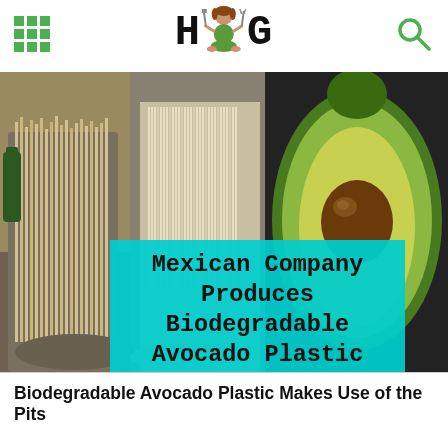HGG — Homestead Guru header with grid icon and search icon
[Figure (photo): Left half: wooden/cream-colored biodegradable cutlery and straws in holders. Right half: halved avocado showing seed on dark background. Teal overlay banner with title text.]
Mexican Company Produces Biodegradable Avocado Plastic
thehomestead.guru
Biodegradable Avocado Plastic Makes Use of the Pits